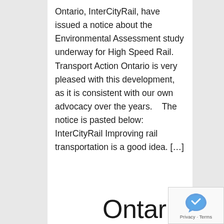Ontario, InterCityRail, have issued a notice about the Environmental Assessment study underway for High Speed Rail.  Transport Action Ontario is very pleased with this development, as it is consistent with our own advocacy over the years.    The notice is pasted below:   InterCityRail Improving rail transportation is a good idea. […]
Continue reading
Ontario's